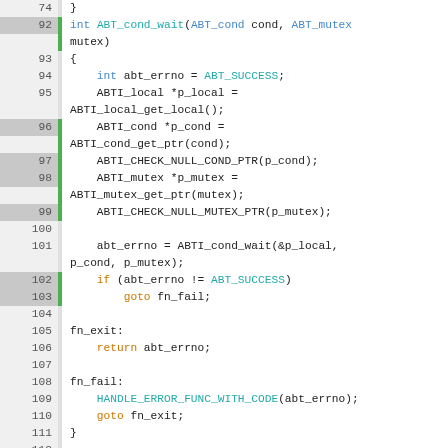[Figure (screenshot): Source code listing in C showing ABT_cond_wait function and start of convert_timespec_to_sec function, with line numbers 74 and 92-117 visible, displayed in a code editor style with syntax highlighting.]